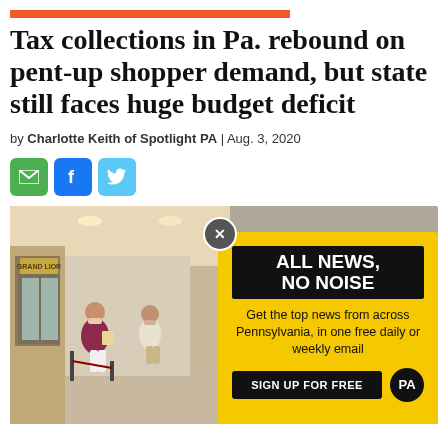[Figure (other): Orange horizontal bar accent]
Tax collections in Pa. rebound on pent-up shopper demand, but state still faces huge budget deficit
by Charlotte Keith of Spotlight PA | Aug. 3, 2020
[Figure (other): Social sharing icons: email (green), Facebook (blue), Twitter (light blue)]
[Figure (photo): People walking through a mall wearing masks; over the photo is a yellow advertisement overlay for Spotlight PA newsletter signup reading 'ALL NEWS, NO NOISE — Get the top news from across Pennsylvania, in one free daily or weekly email — SIGN UP FOR FREE']